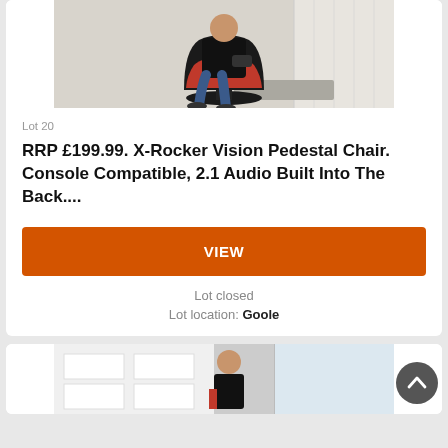[Figure (photo): Person sitting in a black and red X-Rocker gaming pedestal chair, holding a game controller, in a living room setting]
Lot 20
RRP £199.99. X-Rocker Vision Pedestal Chair. Console Compatible, 2.1 Audio Built Into The Back....
VIEW
Lot closed
Lot location: Goole
[Figure (photo): Partial view of another lot listing showing a person standing next to white shelving unit]